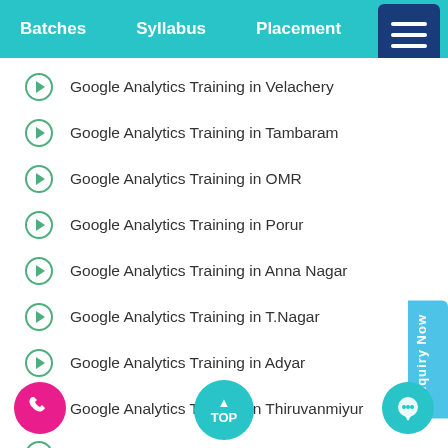Batches  Syllabus  Placement  La...
Google Analytics Training in Velachery
Google Analytics Training in Tambaram
Google Analytics Training in OMR
Google Analytics Training in Porur
Google Analytics Training in Anna Nagar
Google Analytics Training in T.Nagar
Google Analytics Training in Adyar
Google Analytics Training in Thiruvanmiyur
Google Analytics Training in Siruseri
Google Analytics Training in Chromepet
Google Analytics Training in Kodambakkam